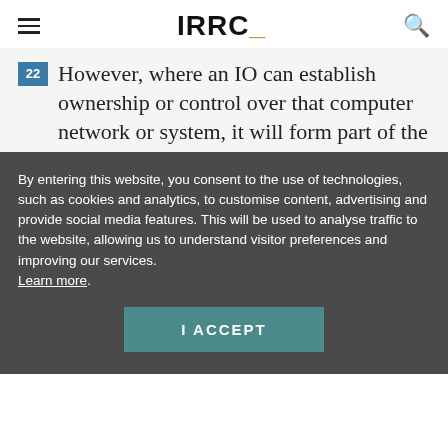IRRC_
22 However, where an IO can establish ownership or control over that computer network or system, it will form part of the organization's “premises”. An IO’s ownership of a computer network or system may be indicated by the fact that it has entered into a contract with a service provider that grants legal ownership to the organization. An IO exercises
By entering this website, you consent to the use of technologies, such as cookies and analytics, to customise content, advertising and provide social media features. This will be used to analyse traffic to the website, allowing us to understand visitor preferences and improving our services. Learn more.
I ACCEPT